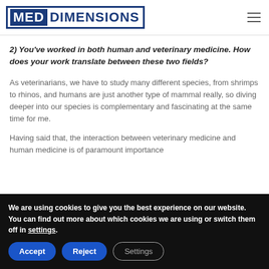[Figure (logo): Med Dimensions logo — white text 'MED' on dark blue background, 'DIMENSIONS' in dark blue on white, all enclosed in a dark blue rectangular border]
2) You've worked in both human and veterinary medicine. How does your work translate between these two fields?
As veterinarians, we have to study many different species, from shrimps to rhinos, and humans are just another type of mammal really, so diving deeper into our species is complementary and fascinating at the same time for me.
Having said that, the interaction between veterinary medicine and human medicine is of paramount importance
We are using cookies to give you the best experience on our website.
You can find out more about which cookies we are using or switch them off in settings.